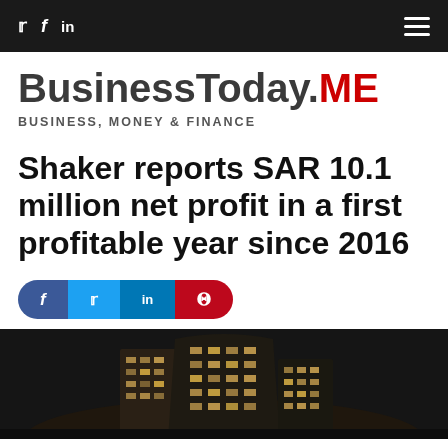BusinessToday.ME – BUSINESS, MONEY & FINANCE – Navigation bar with social icons and hamburger menu
BusinessToday.ME
BUSINESS, MONEY & FINANCE
Shaker reports SAR 10.1 million net profit in a first profitable year since 2016
[Figure (infographic): Social share buttons row: Facebook (dark blue), Twitter (light blue), LinkedIn (blue), Pinterest (red), all in a pill/rounded shape]
[Figure (photo): Night photograph of a modern curved glass office building lit from within against a dark sky]